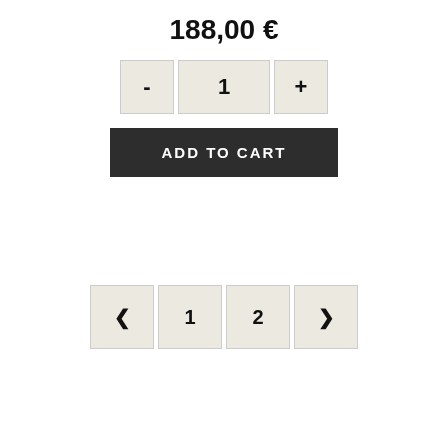188,00 €
[Figure (screenshot): Quantity selector with minus button, quantity display showing 1, and plus button]
[Figure (screenshot): Add to Cart button, dark background with white text]
[Figure (screenshot): Pagination controls with left arrow, page 1, page 2, right arrow]
Find us on Instagram
[Figure (screenshot): Instagram image thumbnails with left and right navigation arrows]